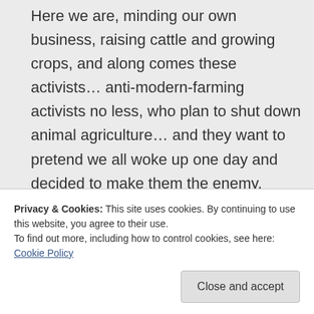Here we are, minding our own business, raising cattle and growing crops, and along comes these activists… anti-modern-farming activists no less, who plan to shut down animal agriculture… and they want to pretend we all woke up one day and decided to make them the enemy.

Give me a break. We're all too busy
Privacy & Cookies: This site uses cookies. By continuing to use this website, you agree to their use.
To find out more, including how to control cookies, see here: Cookie Policy